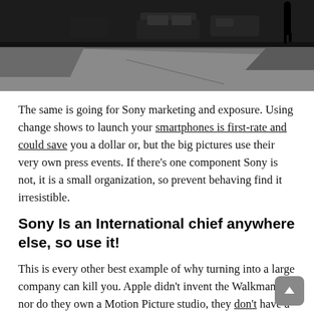[Figure (photo): Dark street-level photo showing cars and a pedestrian on a sidewalk, taken from a low angle. The ground/pavement is visible in the foreground.]
The same is going for Sony marketing and exposure. Using change shows to launch your smartphones is first-rate and could save you a dollar or, but the big pictures use their very own press events. If there's one component Sony is not, it is a small organization, so prevent behaving find it irresistible.
Sony Is an International chief anywhere else, so use it!
This is every other best example of why turning into a large company can kill you. Apple didn't invent the Walkman, nor do they own a Motion Picture studio, they don't have a Music studio, nor construct the Bravia line-up, nor some of the first-rate track gamers in the world, nor cameras, nor camcorders. Still, Apple is